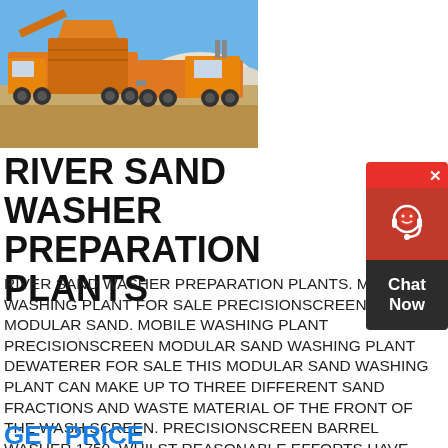[Figure (photo): Orange mobile sand washing/preparation plant trucks on a sandy desert/quarry site under blue sky]
RIVER SAND WASHER PREPARATION PLANTS
RIVER SAND WASHER PREPARATION PLANTS. MOBILE WASHING PLANT FOR SALE PRECISIONSCREEN MODULAR SAND. MOBILE WASHING PLANT PRECISIONSCREEN MODULAR SAND WASHING PLANT DEWATERER FOR SALE THIS MODULAR SAND WASHING PLANT CAN MAKE UP TO THREE DIFFERENT SAND FRACTIONS AND WASTE MATERIAL OF THE FRONT OF THE WASH SCREEN. PRECISIONSCREEN BARREL WASHER 1750. WHILST REASONABLE EFFORTS HAVE
GET PRICE
[Figure (other): Chat Now widget button with headset icon in red and dark background]